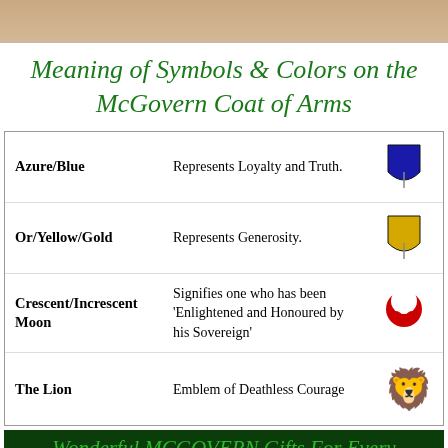[Figure (photo): Beige/tan textured background strip at top of page]
Meaning of Symbols & Colors on the McGovern Coat of Arms
| Symbol/Color | Meaning | Icon |
| --- | --- | --- |
| Azure/Blue | Represents Loyalty and Truth. | blue shield |
| Or/Yellow/Gold | Represents Generosity. | gold shield |
| Crescent/Increscent Moon | Signifies one who has been 'Enlightened and Honoured by his Sovereign' | red crescent |
| The Lion | Emblem of Deathless Courage | red lion |
Wonderful MCGOVERN Gifts For Every Occasion
[Figure (photo): Social media bar with profile photo, WhatsApp, Facebook, Twitter, and TxT icons]